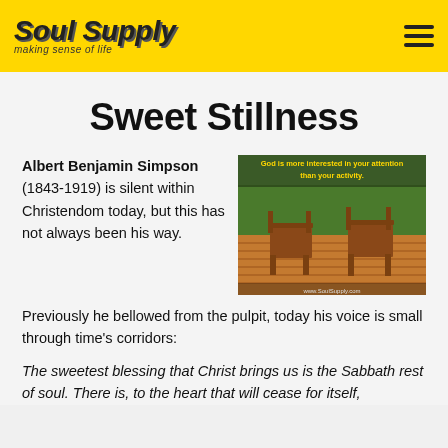Soul Supply — making sense of life
Sweet Stillness
Albert Benjamin Simpson (1843-1919) is silent within Christendom today, but this has not always been his way.
[Figure (photo): Photo of rocking chairs on a wooden deck with green grass and trees in the background. Text overlay reads: 'God is more interested in your attention than your activity.' and 'www.SoulSupply.com']
Previously he bellowed from the pulpit, today his voice is small through time's corridors:
The sweetest blessing that Christ brings us is the Sabbath rest of soul. There is, to the heart that will cease for itself,